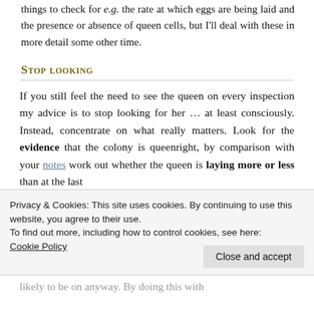things to check for e.g. the rate at which eggs are being laid and the presence or absence of queen cells, but I'll deal with these in more detail some other time.
Stop looking
If you still feel the need to see the queen on every inspection my advice is to stop looking for her … at least consciously. Instead, concentrate on what really matters. Look for the evidence that the colony is queenright, by comparison with your notes work out whether the queen is laying more or less than at the last
Privacy & Cookies: This site uses cookies. By continuing to use this website, you agree to their use.
To find out more, including how to control cookies, see here:
Cookie Policy
likely to be on anyway. By doing this with